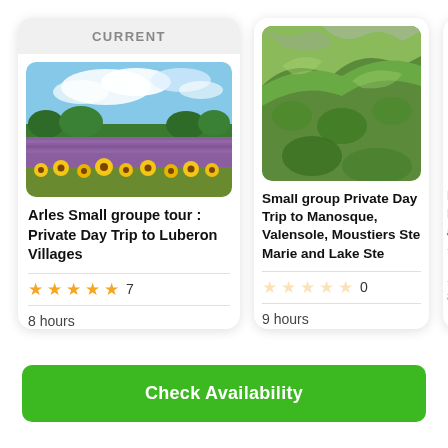CURRENT
[Figure (photo): Lavender and sunflower field under blue sky with clouds]
Arles Small groupe tour : Private Day Trip to Luberon Villages
★★★★★ 7
8 hours
[Figure (photo): Aerial view of green rocky hillside]
Small group Private Day Trip to Manosque, Valensole, Moustiers Ste Marie and Lake Ste
☆☆☆☆☆ 0
9 hours
[Figure (photo): Partial view of Roman aqueduct under blue sky]
Privo Nime and
★★
8 hou
Check Availability